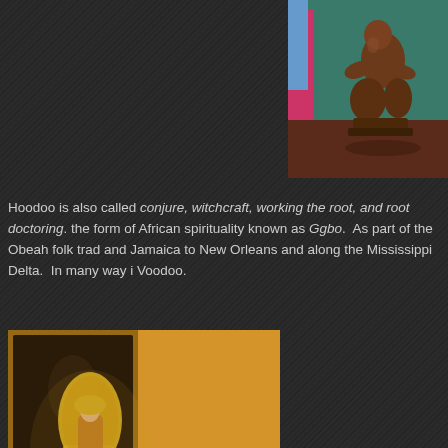[Figure (photo): A wooden carved figurine or statue, squatting/kneeling pose, brown terracotta color, placed on a surface with colorful fabric visible in the background (pink and blue tones), warm reddish-brown floor.]
Hoodoo is also called conjure, witchcraft, working the root, and root doctoring. [continues] the form of African spirituality known as Ggbo. As part of the Obeah folk trad[ition] and Jamaica to New Orleans and along the Mississippi Delta. In many way i[t resembles] Voodoo.
[Figure (photo): A religious altar or shrine scene with a gilded Virgin Mary (Our Lady of Guadalupe) statue at the center, several red roses arranged around it, warm golden/amber lighting, dark background with framed artwork visible.]